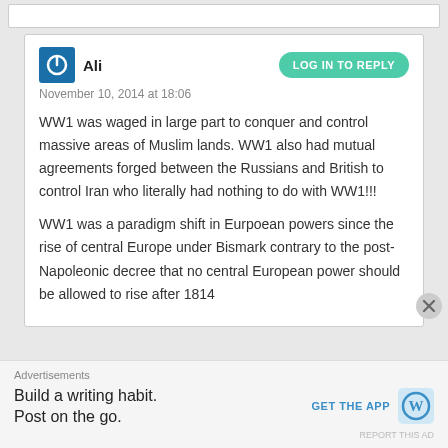Ali
November 10, 2014 at 18:06
WW1 was waged in large part to conquer and control massive areas of Muslim lands. WW1 also had mutual agreements forged between the Russians and British to control Iran who literally had nothing to do with WW1!!!
WW1 was a paradigm shift in Eurpoean powers since the rise of central Europe under Bismark contrary to the post-Napoleonic decree that no central European power should be allowed to rise after 1814
Advertisements
Build a writing habit. Post on the go.
GET THE APP